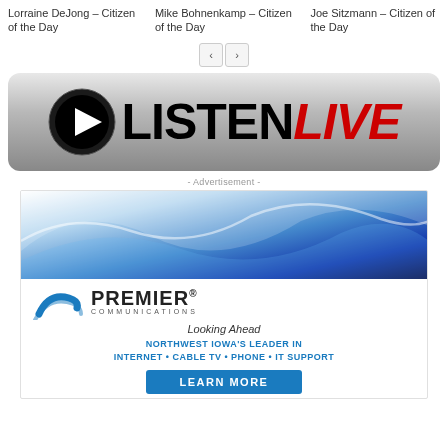Lorraine DeJong – Citizen of the Day
Mike Bohnenkamp – Citizen of the Day
Joe Sitzmann – Citizen of the Day
[Figure (other): Navigation arrows (left and right) for carousel]
[Figure (other): Listen Live banner with play button icon, bold LISTEN text and red italic LIVE text on gray gradient background]
- Advertisement -
[Figure (other): Premier Communications advertisement banner with blue wave graphic, logo with arrow, tagline 'Looking Ahead', text 'NORTHWEST IOWA'S LEADER IN INTERNET • CABLE TV • PHONE • IT SUPPORT', and 'LEARN MORE' button]